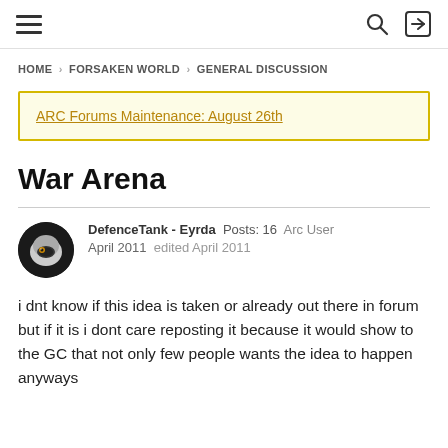HOME › FORSAKEN WORLD › GENERAL DISCUSSION
ARC Forums Maintenance: August 26th
War Arena
DefenceTank - Eyrda  Posts: 16  Arc User
April 2011  edited April 2011
i dnt know if this idea is taken or already out there in forum but if it is i dont care reposting it because it would show to the GC that not only few people wants the idea to happen anyways